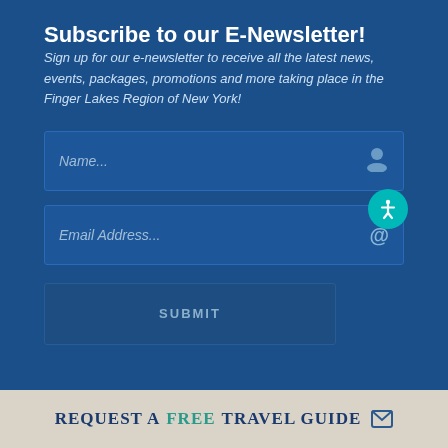Subscribe to our E-Newsletter!
Sign up for our e-newsletter to receive all the latest news, events, packages, promotions and more taking place in the Finger Lakes Region of New York!
[Figure (screenshot): Web form with Name field showing placeholder 'Name...' and a user icon on the right]
[Figure (screenshot): Web form with Email Address field showing placeholder 'Email Address...' and an @ icon on the right, with a teal accessibility button overlay in the top-right corner]
[Figure (screenshot): Submit button with text 'SUBMIT' in uppercase letters]
Request a Free Travel Guide